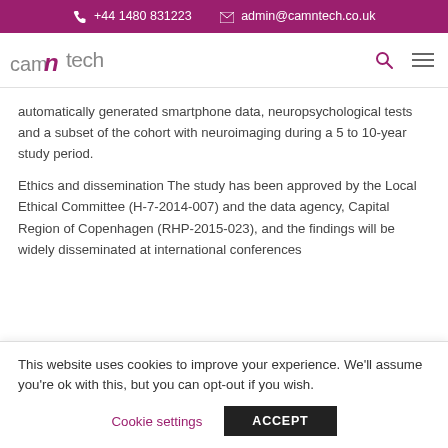+44 1480 831223  admin@camntech.co.uk
[Figure (logo): CamNtech logo with stylized N in purple/magenta]
automatically generated smartphone data, neuropsychological tests and a subset of the cohort with neuroimaging during a 5 to 10-year study period.
Ethics and dissemination The study has been approved by the Local Ethical Committee (H-7-2014-007) and the data agency, Capital Region of Copenhagen (RHP-2015-023), and the findings will be widely disseminated at international conferences
This website uses cookies to improve your experience. We'll assume you're ok with this, but you can opt-out if you wish.
Cookie settings   ACCEPT